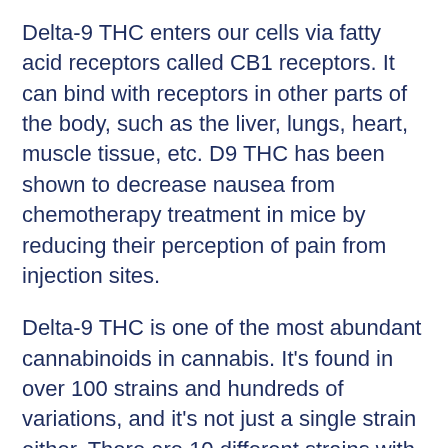Delta-9 THC enters our cells via fatty acid receptors called CB1 receptors. It can bind with receptors in other parts of the body, such as the liver, lungs, heart, muscle tissue, etc. D9 THC has been shown to decrease nausea from chemotherapy treatment in mice by reducing their perception of pain from injection sites.
Delta-9 THC is one of the most abundant cannabinoids in cannabis. It's found in over 100 strains and hundreds of variations, and it's not just a single strain either. There are 10 different strains with a high concentration of D9 THC with hundreds of different strains. This means that no two people will respond to D9 THC in the same way.
It is why it's important to know what your body needs when consuming cannabis and what you hope for when consuming this chemical compound.